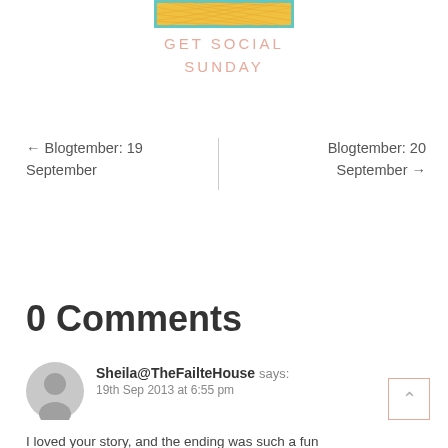[Figure (illustration): Decorative banner image with yellow/gold crosshatch pattern and teal border]
GET SOCIAL
SUNDAY
← Blogtember: 19 September
Blogtember: 20 September →
0 Comments
Sheila@TheFailteHouse says:
19th Sep 2013 at 6:55 pm
I loved your story, and the ending was such a fun